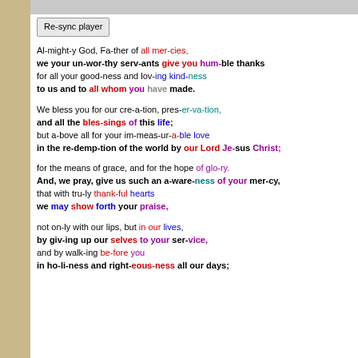[Figure (other): UI button labeled Re-sync player]
Al-might-y God, Fa-ther of all mer-cies,
we your un-wor-thy serv-ants give you hum-ble thanks
for all your good-ness and lov-ing kind-ness
to us and to all whom you have made.
We bless you for our cre-a-tion, pres-er-va-tion,
and all the bles-sings of this life;
but a-bove all for your im-meas-ur-a-ble love
in the re-demp-tion of the world by our Lord Je-sus Christ;
for the means of grace, and for the hope of glo-ry.
And, we pray, give us such an a-ware-ness of your mer-cy,
that with tru-ly thank-ful hearts
we may show forth your praise,
not on-ly with our lips, but in our lives,
by giv-ing up our selves to your ser-vice,
and by walk-ing be-fore you
in ho-li-ness and right-eous-ness all our days;